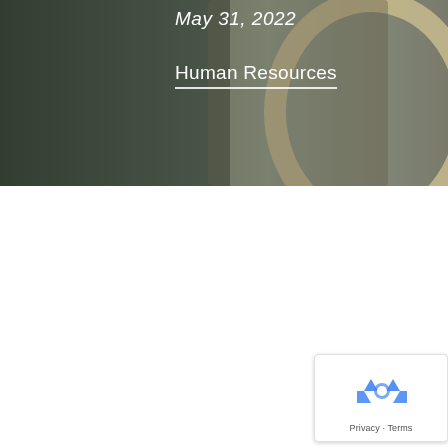[Figure (photo): Hero banner image showing a person in a dimly lit room, with a decorative circular/arc shape on the right side in beige/gold color. Dark overlay on the left portion.]
May 31, 2022
Human Resources
[Figure (other): reCAPTCHA badge widget with recycling-arrow logo icon and Privacy - Terms text]